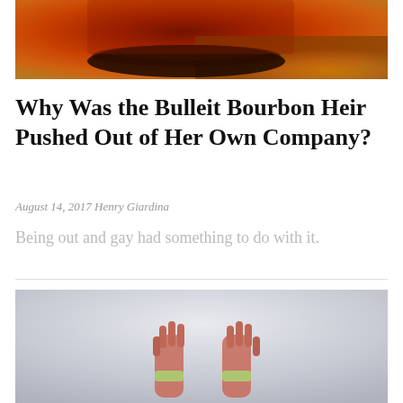[Figure (photo): Close-up photo of the bottom of a Bulleit Bourbon bottle on a wooden surface, showing amber/red tones]
Why Was the Bulleit Bourbon Heir Pushed Out of Her Own Company?
August 14, 2017 Henry Giardina
Being out and gay had something to do with it.
[Figure (photo): Photo of two hands raised against a light grey/white background]